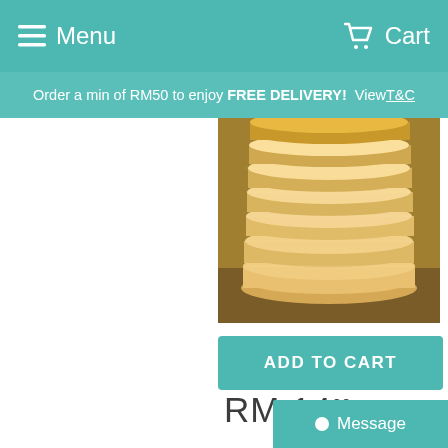Menu   Cart
Order a min of RM50 to enjoy FREE DELIVERY! View T&C
[Figure (photo): Stack of Roti Boom flatbreads piled on top of each other]
[3 days pre-order] Roti Boom (Set of 8)
RM 14.00
ADD TO CART
Message